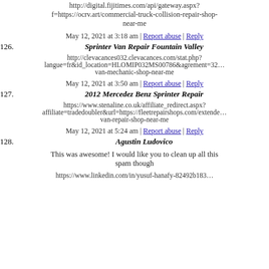http://digital.fijitimes.com/api/gateway.aspx?f=https://ocrv.art/commercial-truck-collision-repair-shop-near-me
May 12, 2021 at 3:18 am | Report abuse | Reply
126. Sprinter Van Repair Fountain Valley
http://clevacances032.clevacances.com/stat.php?langue=fr&id_location=HLOMIP032MS00786&agrement=32… van-mechanic-shop-near-me
May 12, 2021 at 3:50 am | Report abuse | Reply
127. 2012 Mercedez Benz Sprinter Repair
https://www.stenaline.co.uk/affiliate_redirect.aspx?affiliate=tradedoubler&url=https://fleetrepairshops.com/extende… van-repair-shop-near-me
May 12, 2021 at 5:24 am | Report abuse | Reply
128. Agustin Ludovico
This was awesome! I would like you to clean up all this spam though
https://www.linkedin.com/in/yusuf-hanafy-82492b183…